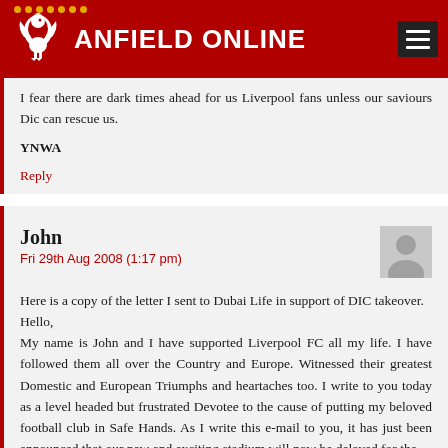ANFIELD ONLINE
I fear there are dark times ahead for us Liverpool fans unless our saviours Dic can rescue us.

YNWA
Reply
John
Fri 29th Aug 2008 (1:17 pm)
Here is a copy of the letter I sent to Dubai Life in support of DIC takeover.
Hello,
My name is John and I have supported Liverpool FC all my life. I have followed them all over the Country and Europe. Witnessed their greatest Domestic and European Triumphs and heartaches too. I write to you today as a level headed but frustrated Devotee to the cause of putting my beloved football club in Safe Hands. As I write this e-mail to you, it has just been announced that our new and exciting stadium will now be delayed for the